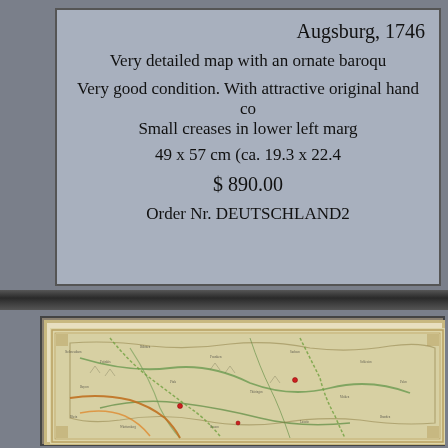Augsburg, 1746
Very detailed map with an ornate baroqu...
Very good condition. With attractive original hand co... Small creases in lower left marg...
49 x 57 cm (ca. 19.3 x 22.4...)
$ 890.00
Order Nr. DEUTSCHLAND2...
[Figure (map): Antique hand-colored map of Germany region, circa 1746, showing topographical features, towns, borders, and rivers with baroque cartographic style.]